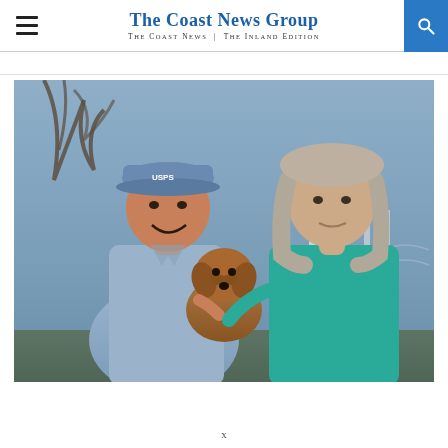The Coast News Group — The Coast News | The Inland Edition
[Figure (photo): A postal worker in blue USPS uniform and cap holding a small brown dog, standing next to an older woman with gray hair wearing a teal top. They are outdoors near a fence with trees and overcast sky in the background.]
x